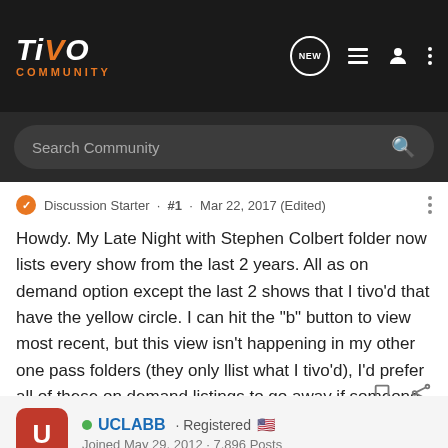[Figure (screenshot): TiVo Community forum navigation bar with logo, search, and user icons]
Search Community
Discussion Starter · #1 · Mar 22, 2017 (Edited)
Howdy. My Late Night with Stephen Colbert folder now lists every show from the last 2 years. All as on demand option except the last 2 shows that I tivo'd that have the yellow circle. I can hit the "b" button to view most recent, but this view isn't happening in my other one pass folders (they only llist what I tivo'd), I'd prefer all of these on demand listings to go away if someone knows how. Cluttered and annoying. Premier. Thanks!
UCLABB · Registered 🇺🇸
Joined May 29, 2012 · 7,896 Posts